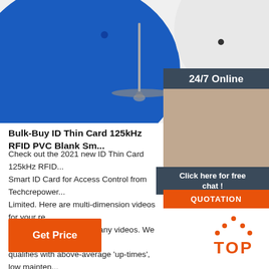[Figure (photo): Blue and white RFID disk tags with a metal pin/needle stand on a white background]
[Figure (photo): Customer service agent (woman with headset) with 24/7 Online, Click here for free chat, and QUOTATION overlay]
Bulk-Buy ID Thin Card 125kHz RFID PVC Blank Sm...
Check out the 2021 new ID Thin Card 125kHz RFID... Smart ID Card for Access Control from Techcrepower... Limited. Here are multi-dimension videos for your re... product videos and company videos. We will offer y... qualifies with above-average 'up-times', low maintenance... requirements, and ease of operation.
Get Price
[Figure (logo): TOP logo with orange dots forming a triangle above the word TOP in orange]